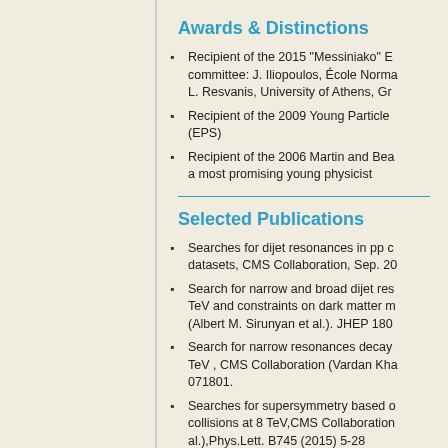Awards & Distinctions
Recipient of the 2015 "Messiniako" E... committee: J. Iliopoulos, École Norma... L. Resvanis, University of Athens, Gr...
Recipient of the 2009 Young Particle... (EPS)
Recipient of the 2006 Martin and Bea... a most promising young physicist
Selected Publications
Searches for dijet resonances in pp c... datasets, CMS Collaboration, Sep. 20...
Search for narrow and broad dijet res... TeV and constraints on dark matter m... (Albert M. Sirunyan et al.). JHEP 180...
Search for narrow resonances decay... TeV , CMS Collaboration (Vardan Kha... 071801.
Searches for supersymmetry based o... collisions at 8 TeV,CMS Collaboration... al.),Phys.Lett. B745 (2015) 5-28
Search for supersymmetry in events... energy using an artificial neural netwe... Phys. Inst.) et al.). Jan 2013., Phys. R...
Measurements of differential jet cross... the CMS detector, CMS Collaboratio...